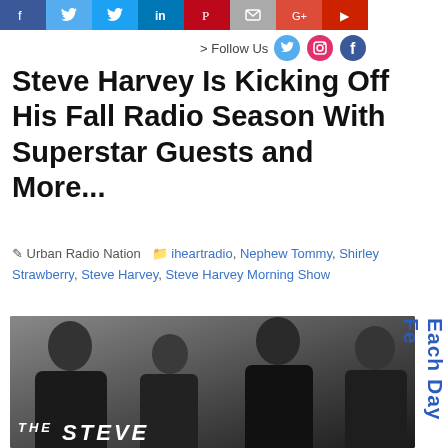[Figure (other): Social media share icons bar at top: facebook, twitter, twitter, linkedin, pinterest, email, google plus, and another red icon]
> Follow Us
Steve Harvey Is Kicking Off His Fall Radio Season With Superstar Guests and More...
Urban Radio Nation   iheartradio, Nephew Tommy, Shirley Strawberry, Steve Harvey, Steve Harvey Morning Show
[Figure (photo): Photo of four people — three women and one man — all dressed in black, smiling, with 'THE STEVE' text visible at the bottom of the image. Radio show cast photo.]
Each Day Fe